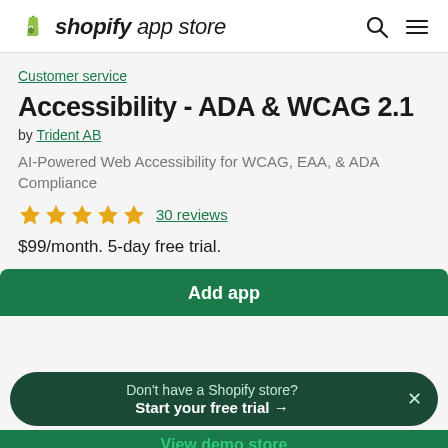shopify app store
Customer service
Accessibility - ADA & WCAG 2.1
by Trident AB
AI-Powered Web Accessibility for WCAG, EAA, & ADA Compliance
★★★★★ 30 reviews
$99/month. 5-day free trial.
Add app
Don't have a Shopify store? Start your free trial →
View demo store